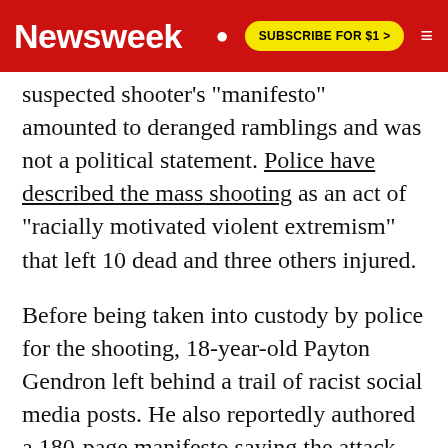Newsweek | SUBSCRIBE FOR $1 >
suspected shooter's "manifesto" amounted to deranged ramblings and was not a political statement. Police have described the mass shooting as an act of "racially motivated violent extremism" that left 10 dead and three others injured.
Before being taken into custody by police for the shooting, 18-year-old Payton Gendron left behind a trail of racist social media posts. He also reportedly authored a 180-page manifesto saying the attack was motivated by the "Great Replacement" The...